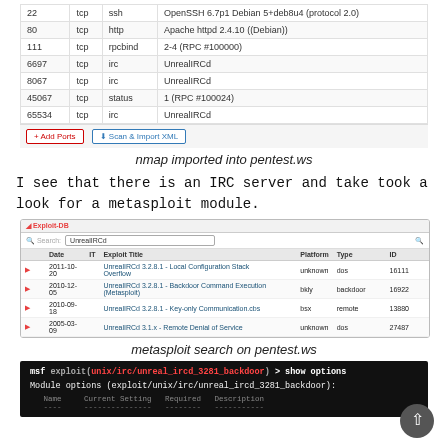[Figure (screenshot): nmap results table imported into pentest.ws showing ports 22 (ssh), 80 (http), 111 (rpcbind), 6697 (irc), 8067 (irc), 45067 (status), 65534 (irc)]
nmap imported into pentest.ws
I see that there is an IRC server and take took a look for a metasploit module.
[Figure (screenshot): Exploit-DB search results for UnrealIRCd showing 4 exploits including Local Configuration Stack Overflow, Backdoor Command Execution (Metasploit), Key-only Communication.cbs, and Remote Denial of Service]
metasploit search on pentest.ws
[Figure (screenshot): Terminal showing msf exploit(unix/irc/unreal_ircd_3281_backdoor) > show options and Module options (exploit/unix/irc/unreal_ircd_3281_backdoor): with Name, Current Setting, Required, Description columns]